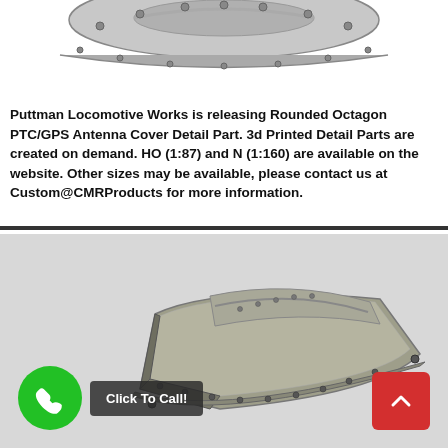[Figure (photo): 3D rendered image of a Rounded Octagon PTC/GPS Antenna Cover Detail Part viewed from above, showing silver/grey metallic finish with bolt details along edges, partially cropped at top]
Puttman Locomotive Works is releasing Rounded Octagon PTC/GPS Antenna Cover Detail Part. 3d Printed Detail Parts are created on demand. HO (1:87) and N (1:160) are available on the website. Other sizes may be available, please contact us at Custom@CMRProducts for more information.
[Figure (photo): 3D rendered image of a Rounded Octagon PTC/GPS Antenna Cover Detail Part viewed from a front-angle perspective, showing grey/tan metallic finish with curved top surface, bolt details along edges and raised panel on top]